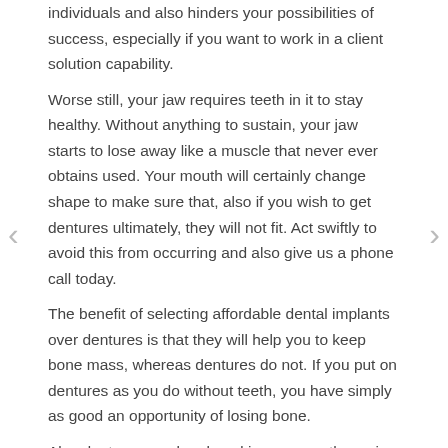individuals and also hinders your possibilities of success, especially if you want to work in a client solution capability.
Worse still, your jaw requires teeth in it to stay healthy. Without anything to sustain, your jaw starts to lose away like a muscle that never ever obtains used. Your mouth will certainly change shape to make sure that, also if you wish to get dentures ultimately, they will not fit. Act swiftly to avoid this from occurring and also give us a phone call today.
The benefit of selecting affordable dental implants over dentures is that they will help you to keep bone mass, whereas dentures do not. If you put on dentures as you do without teeth, you have simply as good an opportunity of losing bone.
Also dentures can be placed in your mouth semi-permanently. Your dentist will certainly fix them to a variety of posts to ensure that you take hip hop lessons without shedding them. While the howling of